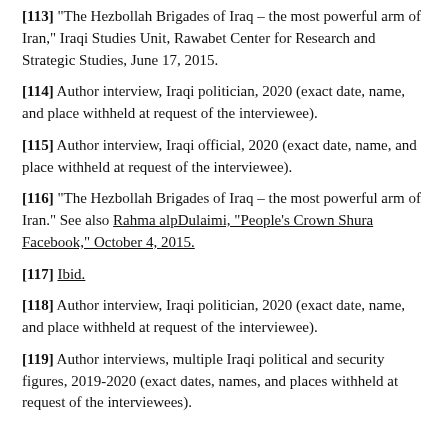[113] "The Hezbollah Brigades of Iraq – the most powerful arm of Iran," Iraqi Studies Unit, Rawabet Center for Research and Strategic Studies, June 17, 2015.
[114] Author interview, Iraqi politician, 2020 (exact date, name, and place withheld at request of the interviewee).
[115] Author interview, Iraqi official, 2020 (exact date, name, and place withheld at request of the interviewee).
[116] "The Hezbollah Brigades of Iraq – the most powerful arm of Iran." See also Rahma alpDulaimi, "People's Crown Shura Facebook," October 4, 2015.
[117] Ibid.
[118] Author interview, Iraqi politician, 2020 (exact date, name, and place withheld at request of the interviewee).
[119] Author interviews, multiple Iraqi political and security figures, 2019-2020 (exact dates, names, and places withheld at request of the interviewees).